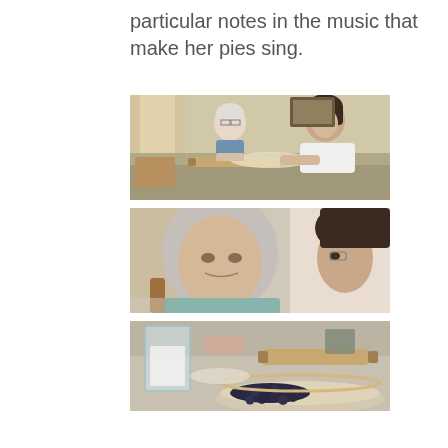particular notes in the music that make her pies sing.
[Figure (photo): Two women making pie together at a kitchen table with a rolling pin and flour visible]
[Figure (photo): Close-up of an elderly woman with white hair and a younger woman facing each other in conversation]
[Figure (photo): Close-up of baking ingredients on a table including blueberries, a glass container, and a rolling pin]